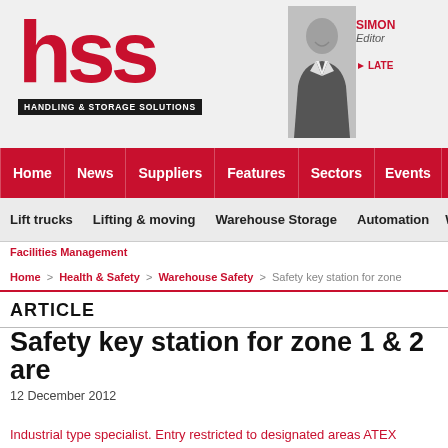[Figure (logo): HSS Handling & Storage Solutions logo - large red HSS letters with black tagline bar below]
[Figure (photo): Black and white photo of smiling male editor in suit]
SIMON
Editor
LATE
Home | News | Suppliers | Features | Sectors | Events | HSD G
Lift trucks | Lifting & moving | Warehouse Storage | Automation | War
Facilities Management
Home > Health & Safety > Warehouse Safety > Safety key station for zone
ARTICLE
Safety key station for zone 1 & 2 are
12 December 2012
Industrial type specialist. Entry restricted to designated areas ATEX